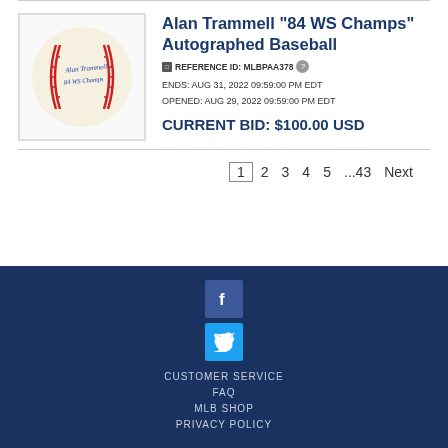[Figure (photo): Autographed baseball with signature and '84 WS Champs' inscription, shown in a bordered box]
Alan Trammell "84 WS Champs" Autographed Baseball
REFERENCE ID: MLBPAA378
ENDS: AUG 31, 2022 09:59:00 PM EDT
OPENED: AUG 29, 2022 09:59:00 PM EDT
CURRENT BID: $100.00 USD
1  2  3  4  5  ...43  Next
[Figure (logo): Facebook icon (blue square with white f)]
[Figure (logo): Twitter icon (light blue square with white bird)]
CUSTOMER SERVICE  FAQ  MLB SHOP  PRIVACY POLICY